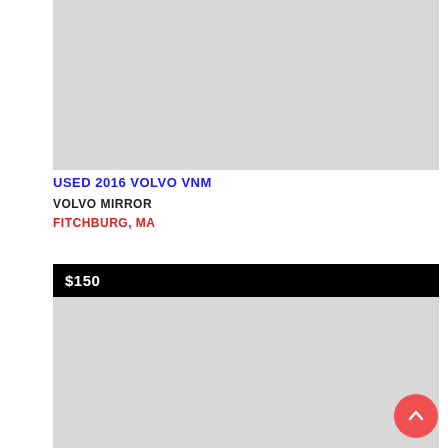[Figure (photo): Gray placeholder image for a used 2016 Volvo VNM vehicle listing]
USED 2016 VOLVO VNM
VOLVO MIRROR
FITCHBURG, MA
$150
[Figure (photo): Gray placeholder image for a second vehicle listing]